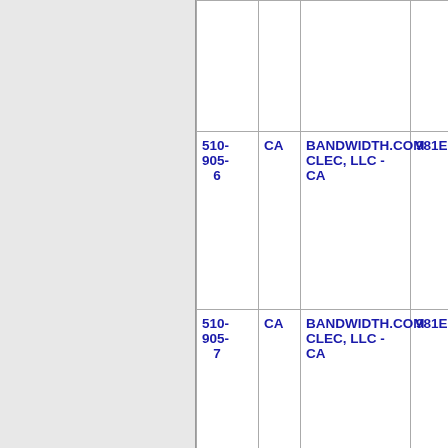| Number | State | Name | Code |
| --- | --- | --- | --- |
| 510-905-6 | CA | BANDWIDTH.COM CLEC, LLC - CA | 981E ... |
| 510-905-7 | CA | BANDWIDTH.COM CLEC, LLC - CA | 981E ... |